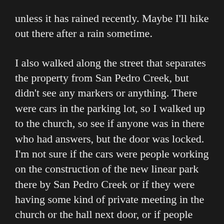unless it has rained recently. Maybe I'll hike out there after a rain sometime.
I also walked along the street that separates the property from San Pedro Creek, but didn't see any markers or anything. There were cars in the parking lot, so I walked up to the church, so see if anyone was in there who had answers, but the door was locked. I'm not sure if the cars were people working on the construction of the new linear park there by San Pedro Creek or if they were having some kind of private meeting in the church or the hall next door, or if people use the parking lot as a kind of park-and-ride and were taking the bus somewhere else from there. I suspect that some day when I have